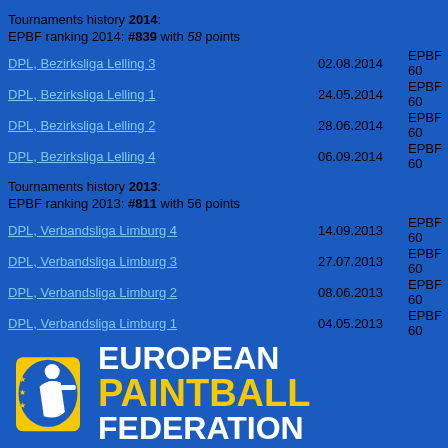Tournaments history 2014:
EPBF ranking 2014: #839 with 58 points
DPL, Bezirksliga Lelling 3 — 02.08.2014 — EPBF 60
DPL, Bezirksliga Lelling 1 — 24.05.2014 — EPBF 60
DPL, Bezirksliga Lelling 2 — 28.06.2014 — EPBF 60
DPL, Bezirksliga Lelling 4 — 06.09.2014 — EPBF 60
Tournaments history 2013:
EPBF ranking 2013: #811 with 56 points
DPL, Verbandsliga Limburg 4 — 14.09.2013 — EPBF 60
DPL, Verbandsliga Limburg 3 — 27.07.2013 — EPBF 60
DPL, Verbandsliga Limburg 2 — 08.06.2013 — EPBF 60
DPL, Verbandsliga Limburg 1 — 04.05.2013 — EPBF 60
Tournaments history 2012:
EPBF ranking 2012: -no ranking-
Tournaments history 2011:
EPBF ranking 2011: -no ranking-
01:49:25
EPBF Ranking 2019
more EPBF rankings...
Search database for teams:
[Figure (logo): European Paintball Federation logo with icon and text]